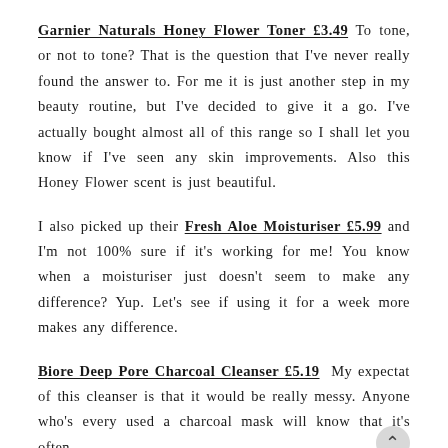Garnier Naturals Honey Flower Toner £3.49 To tone, or not to tone? That is the question that I've never really found the answer to. For me it is just another step in my beauty routine, but I've decided to give it a go. I've actually bought almost all of this range so I shall let you know if I've seen any skin improvements. Also this Honey Flower scent is just beautiful.
I also picked up their Fresh Aloe Moisturiser £5.99 and I'm not 100% sure if it's working for me! You know when a moisturiser just doesn't seem to make any difference? Yup. Let's see if using it for a week more makes any difference.
Biore Deep Pore Charcoal Cleanser £5.19 My expectat of this cleanser is that it would be really messy. Anyone who's every used a charcoal mask will know that it's often